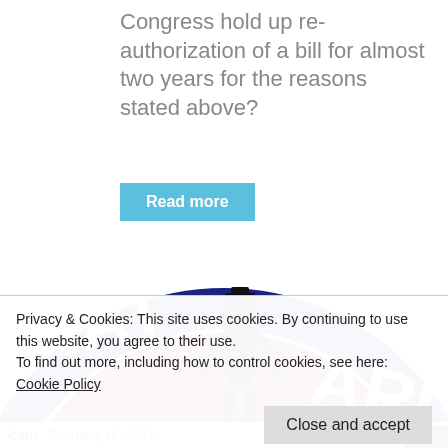Congress hold up re-authorization of a bill for almost two years for the reasons stated above?
Read more
[Figure (logo): National Guard logo — circular emblem with dark blue border, red center, and a minuteman soldier holding a rifle. Partial text 'NAT' visible on left and 'ARD' on right.]
Privacy & Cookies: This site uses cookies. By continuing to use this website, you agree to their use.
To find out more, including how to control cookies, see here: Cookie Policy
Close and accept
Caru · February 18, 2011  41